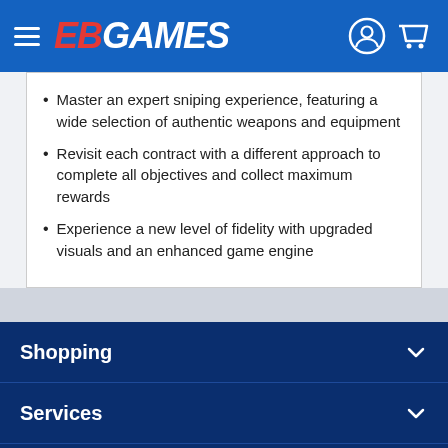EB Games
Master an expert sniping experience, featuring a wide selection of authentic weapons and equipment
Revisit each contract with a different approach to complete all objectives and collect maximum rewards
Experience a new level of fidelity with upgraded visuals and an enhanced game engine
Shopping
Services
Legal
Customer service